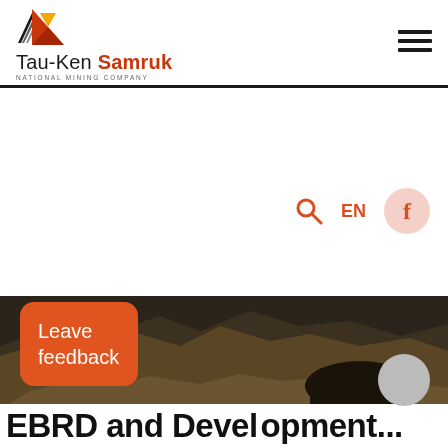[Figure (logo): Tau-Ken Samruk National Mining Company logo with geometric triangular icon in black, yellow, red and text 'Tau-Ken Samruk' and subtitle 'NATIONAL MINING COMPANY']
[Figure (screenshot): Hamburger menu icon (three horizontal bars) in top right corner of navigation]
[Figure (screenshot): Navigation icons: search icon (magnifying glass), EN language toggle, and Facebook circle icon in orange/red]
[Figure (photo): Mining site aerial/landscape photograph showing open pit mine with rocky terrain in brown and dark tones]
[Figure (screenshot): Orange rounded rectangle button labeled 'Leave feedback']
[Figure (screenshot): Gray circular scroll-to-top or navigation button]
EBRD and Development...